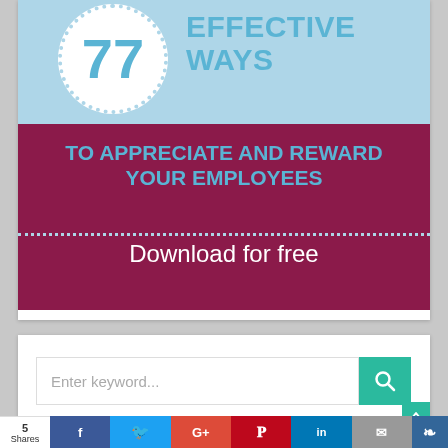[Figure (infographic): Infographic with light blue top and dark maroon bottom. A white circle with dotted border contains the number '77' in blue. To the right: 'EFFECTIVE WAYS' in bold blue. Below on maroon: 'TO APPRECIATE AND REWARD YOUR EMPLOYEES' in teal/green, a dotted line divider, and 'Download for free' in white.]
[Figure (screenshot): Search bar with placeholder text 'Enter keyword...' and a teal search button with magnifying glass icon.]
5 Shares